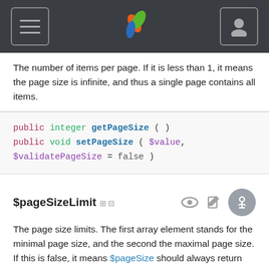Navigation bar with hamburger menu, logo, and user icon
The number of items per page. If it is less than 1, it means the page size is infinite, and thus a single page contains all items.
$pageSizeLimit
The page size limits. The first array element stands for the minimal page size, and the second the maximal page size. If this is false, it means $pageSize should always return the value of $defaultPageSize.